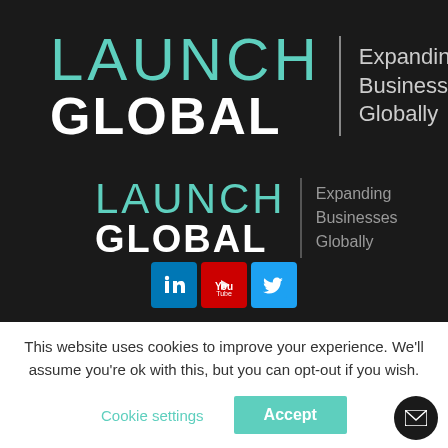[Figure (logo): Launch Global logo (large): teal LAUNCH text with white GLOBAL, vertical divider, tagline Expanding Businesses Globally in grey]
[Figure (logo): Launch Global logo (small): teal LAUNCH text with white GLOBAL, vertical divider, tagline Expanding Businesses Globally in darker grey]
[Figure (infographic): Social media icons row: LinkedIn (blue), YouTube (red), Twitter (light blue)]
This website uses cookies to improve your experience. We'll assume you're ok with this, but you can opt-out if you wish.
Cookie settings   Accept